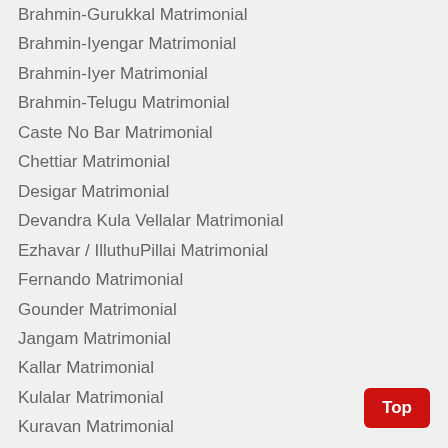Brahmin-Gurukkal Matrimonial
Brahmin-Iyengar Matrimonial
Brahmin-Iyer Matrimonial
Brahmin-Telugu Matrimonial
Caste No Bar Matrimonial
Chettiar Matrimonial
Desigar Matrimonial
Devandra Kula Vellalar Matrimonial
Ezhavar / IlluthuPillai Matrimonial
Fernando Matrimonial
Gounder Matrimonial
Jangam Matrimonial
Kallar Matrimonial
Kulalar Matrimonial
Kuravan Matrimonial
Maravar Matrimonial
Maruthuvar Matrimonial
Meenavar Matrimonial
Moopanar Matrimonial
Mudaliar Matrimonial